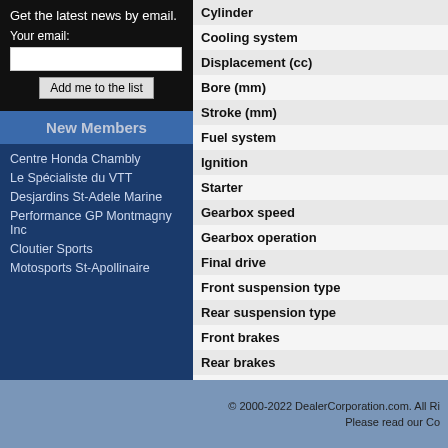Get the latest news by email.
Your email:
New Members
Centre Honda Chambly
Le Spécialiste du VTT
Desjardins St-Adele Marine
Performance GP Montmagny Inc
Cloutier Sports
Motosports St-Apollinaire
| Spec |
| --- |
| Cylinder |
| Cooling system |
| Displacement (cc) |
| Bore (mm) |
| Stroke (mm) |
| Fuel system |
| Ignition |
| Starter |
| Gearbox speed |
| Gearbox operation |
| Final drive |
| Front suspension type |
| Rear suspension type |
| Front brakes |
| Rear brakes |
| - Wheel diameter |
| - Wheel diameter |
| Weelbase (mm) |
| Seat height (mm) |
| Ground clearance (mm) |
| Weight (kg) |
| Fuel capacity (L) |
© 2000-2022 DealerCorporation.com. All Ri... Please read our Co...